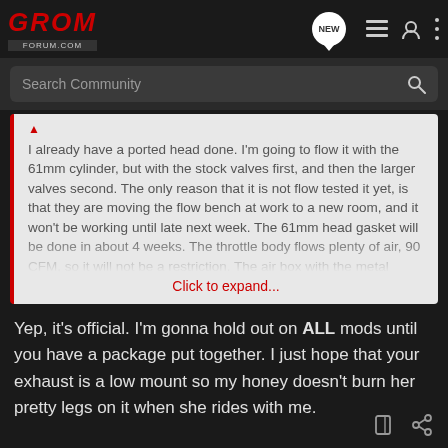GROM FORUM.COM
Search Community
I already have a ported head done. I'm going to flow it with the 61mm cylinder, but with the stock valves first, and then the larger valves second. The only reason that it is not flow tested it yet, is that they are moving the flow bench at work to a new room, and it won't be working until late next week. The 61mm head gasket will be done in about 4 weeks. The throttle body flows plenty of air, 90 CFM, so it will not be a restriction. The air box with the metal plate/screen removed
Click to expand...
Yep, it's official. I'm gonna hold out on ALL mods until you have a package put together. I just hope that your exhaust is a low mount so my honey doesn't burn her pretty legs on it when she rides with me.